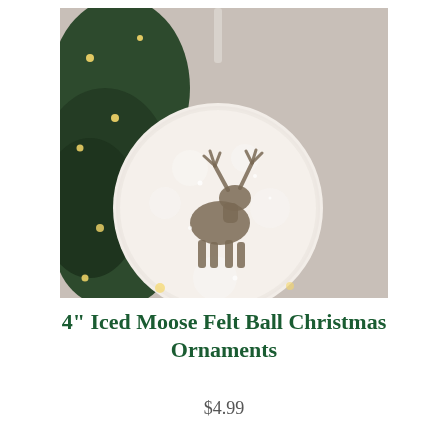[Figure (photo): A white fuzzy felt ball Christmas ornament with a moose silhouette design on it, hanging from a white ribbon in front of a Christmas tree with warm lights in the background.]
4" Iced Moose Felt Ball Christmas Ornaments
$4.99